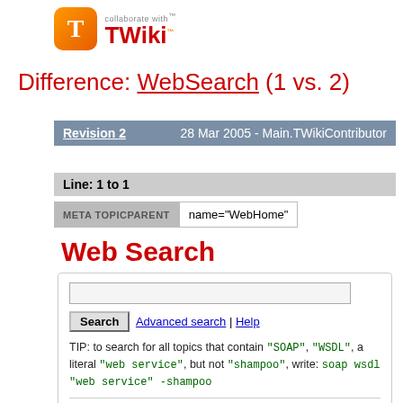[Figure (logo): TWiki logo with orange T icon and 'collaborate with TWiki' text]
Difference: WebSearch (1 vs. 2)
Revision 2   28 Mar 2005 - Main.TWikiContributor
Line: 1 to 1
META TOPICPARENT   name="WebHome"
Web Search
Search  Advanced search | Help
TIP: to search for all topics that contain "SOAP", "WSDL", a literal "web service", but not "shampoo", write: soap wsdl "web service" -shampoo
Text body   Topic title   Both body and title
Search